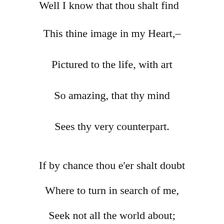Well I know that thou shalt find
This thine image in my Heart,–
Pictured to the life, with art
So amazing, that thy mind
Sees thy very counterpart.
If by chance thou e'er shalt doubt
Where to turn in search of me,
Seek not all the world about;